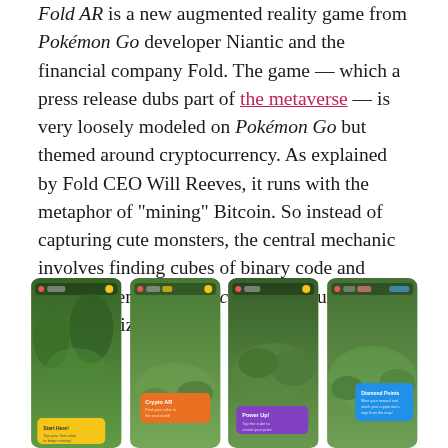Fold AR is a new augmented reality game from Pokémon Go developer Niantic and the financial company Fold. The game — which a press release dubs part of the metaverse — is very loosely modeled on Pokémon Go but themed around cryptocurrency. As explained by Fold CEO Will Reeves, it runs with the metaphor of "mining" Bitcoin. So instead of capturing cute monsters, the central mechanic involves finding cubes of binary code and tapping them like Minecraft blocks until they reveal a prize.
[Figure (screenshot): Four smartphone screenshots of the Fold AR augmented reality game, each showing an outdoor scene with AR overlays including colored dialogue boxes with game text.]